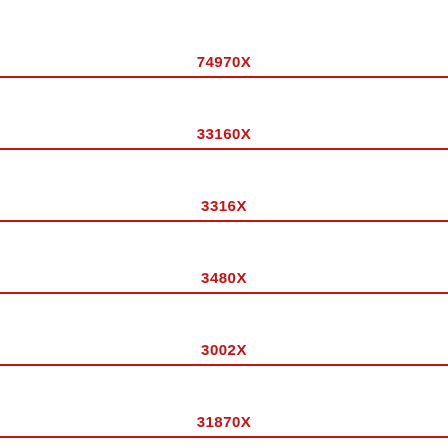74970X
33160X
3316X
3480X
3002X
31870X